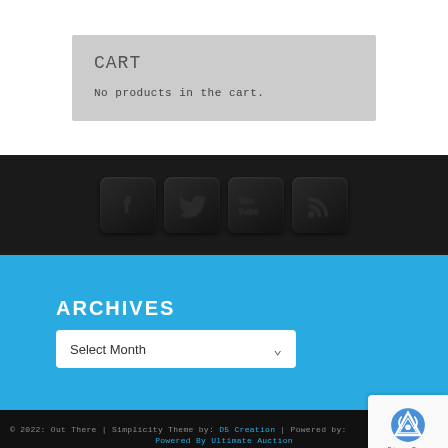CART
No products in the cart.
[Figure (other): Social media icon buttons: Facebook, Twitter, YouTube, RSS feed on a dark background bar]
ARCHIVES
Select Month
© 2022: Out There | Simplicity Theme by: D5 Creation | Powered by:
Powered By Ultimate Auction